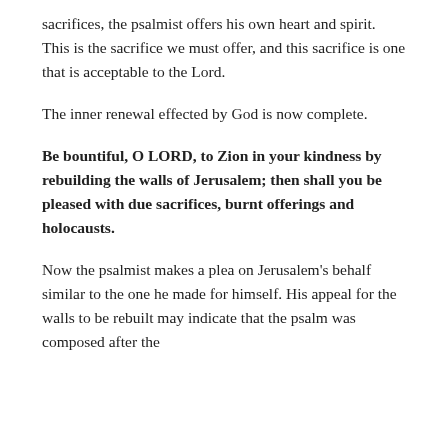sacrifices, the psalmist offers his own heart and spirit. This is the sacrifice we must offer, and this sacrifice is one that is acceptable to the Lord.
The inner renewal effected by God is now complete.
Be bountiful, O LORD, to Zion in your kindness by rebuilding the walls of Jerusalem; then shall you be pleased with due sacrifices, burnt offerings and holocausts.
Now the psalmist makes a plea on Jerusalem's behalf similar to the one he made for himself. His appeal for the walls to be rebuilt may indicate that the psalm was composed after the